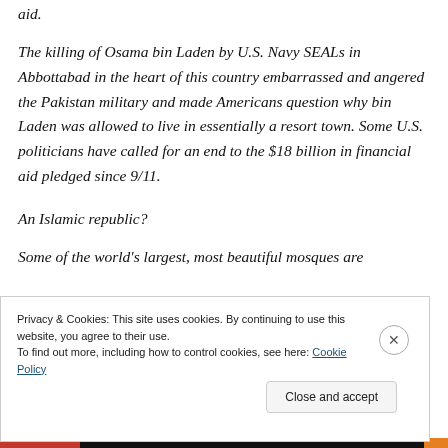aid.
The killing of Osama bin Laden by U.S. Navy SEALs in Abbottabad in the heart of this country embarrassed and angered the Pakistan military and made Americans question why bin Laden was allowed to live in essentially a resort town. Some U.S. politicians have called for an end to the $18 billion in financial aid pledged since 9/11.
An Islamic republic?
Some of the world's largest, most beautiful mosques are
Privacy & Cookies: This site uses cookies. By continuing to use this website, you agree to their use.
To find out more, including how to control cookies, see here: Cookie Policy
Close and accept